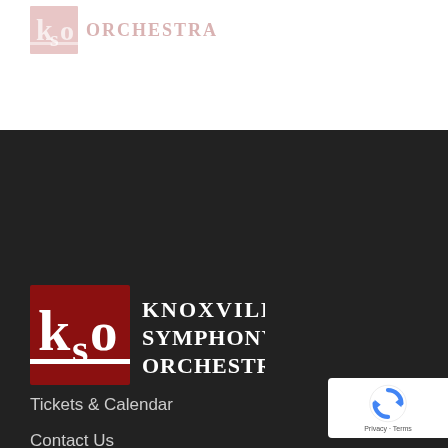[Figure (logo): Knoxville Symphony Orchestra faded/light logo at top of page]
[Figure (logo): Knoxville Symphony Orchestra full logo with dark red/maroon background, white KSO letters and text reading KNOXVILLE SYMPHONY ORCHESTRA]
Tickets & Calendar
Contact Us
Press Room
Privacy Policy